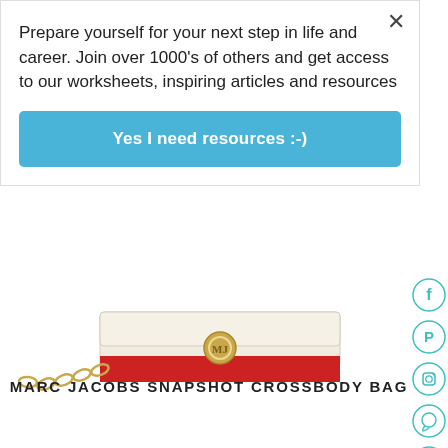Prepare yourself for your next step in life and career. Join over 1000's of others and get access to our worksheets, inspiring articles and resources
Yes I need resources :-)
[Figure (photo): Marc Jacobs Snapshot Crossbody Bag — red and cream leather clutch with gold chain strap and gold circular logo hardware]
MARC JACOBS SNAPSHOT CROSSBODY BAG